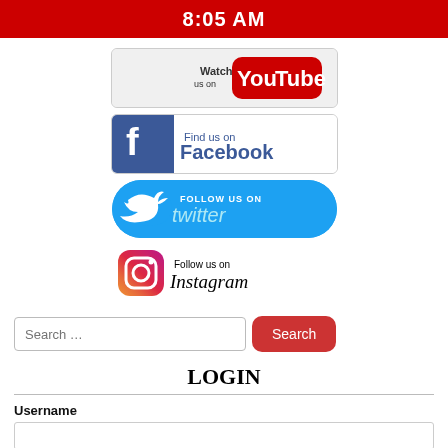8:05 AM
[Figure (logo): Watch us on YouTube button with YouTube logo]
[Figure (logo): Find us on Facebook button with Facebook logo]
[Figure (logo): Follow us on Twitter button with Twitter bird logo]
[Figure (logo): Follow us on Instagram button with Instagram logo]
Search …
LOGIN
Username